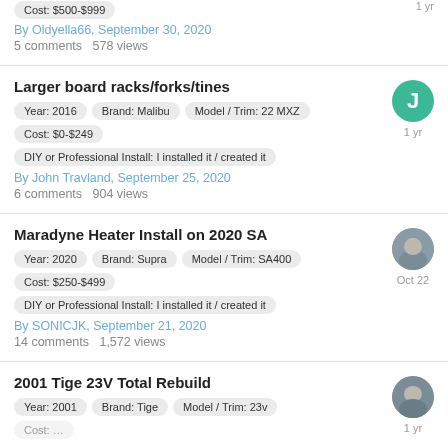Cost: $500-$999 | By Oldyella66, September 30, 2020 | 5 comments 578 views
Larger board racks/forks/tines | Year: 2016 | Brand: Malibu | Model / Trim: 22 MXZ | Cost: $0-$249 | DIY or Professional Install: I installed it / created it | By John Travland, September 25, 2020 | 6 comments 904 views
Maradyne Heater Install on 2020 SA | Year: 2020 | Brand: Supra | Model / Trim: SA400 | Cost: $250-$499 | DIY or Professional Install: I installed it / created it | By SONICJK, September 21, 2020 | 14 comments 1,572 views
2001 Tige 23V Total Rebuild | Year: 2001 | Brand: Tige | Model / Trim: 23v